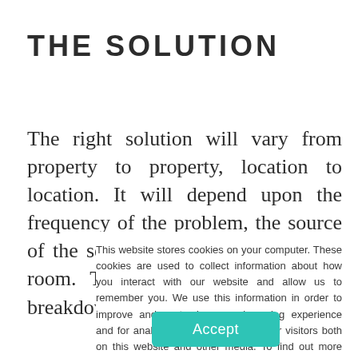THE SOLUTION
The right solution will vary from property to property, location to location. It will depend upon the frequency of the problem, the source of the sound and the position of the room. The following is a general breakdown of the typical
This website stores cookies on your computer. These cookies are used to collect information about how you interact with our website and allow us to remember you. We use this information in order to improve and customize your browsing experience and for analytics and metrics about our visitors both on this website and other media. To find out more about the cookies we use, see our Privacy Policy.
Accept